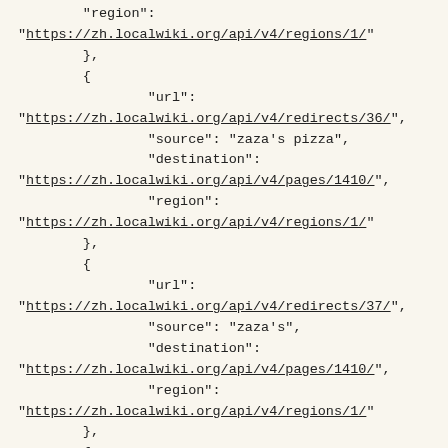"region": "https://zh.localwiki.org/api/v4/regions/1/"
        },
        {
                "url": "https://zh.localwiki.org/api/v4/redirects/36/",
                "source": "zaza's pizza",
                "destination": "https://zh.localwiki.org/api/v4/pages/1410/",
                "region": "https://zh.localwiki.org/api/v4/regions/1/"
        },
        {
                "url": "https://zh.localwiki.org/api/v4/redirects/37/",
                "source": "zaza's",
                "destination": "https://zh.localwiki.org/api/v4/pages/1410/",
                "region": "https://zh.localwiki.org/api/v4/regions/1/"
        },
        {